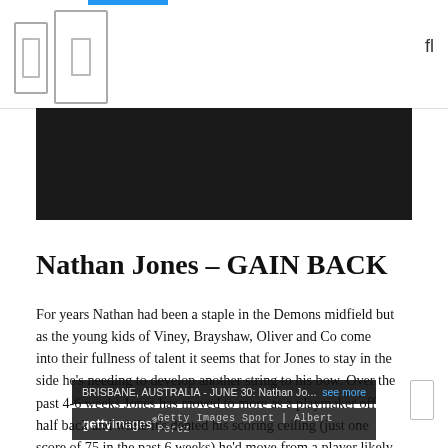[Figure (photo): Dark/black photo area - Nathan Jones sports photo from Brisbane, Australia, June 30. Getty Images Sport | Albert Perez]
BRISBANE, AUSTRALIA - JUNE 30: Nathan Jo...   see more
gettyimages   Getty Images Sport | Albert Perez
Nathan Jones – GAIN BACK
For years Nathan had been a staple in the Demons midfield but as the young kids of Viney, Brayshaw, Oliver and Co come into their fullness of talent it seems that for Jones to stay in the side he's needing to develop another string to his bow. Over the past 4-6 weeks Jones has moved to more as a playmaker off half back and while it's dented his scoring ceiling (just one score of 75 in the past 6 weeks) he'd move from a player likely destined for the waiver to a squad depth backman